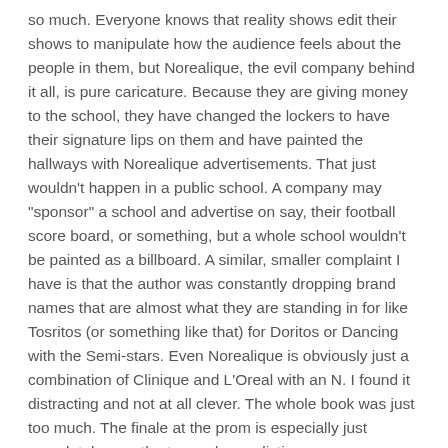so much. Everyone knows that reality shows edit their shows to manipulate how the audience feels about the people in them, but Norealique, the evil company behind it all, is pure caricature. Because they are giving money to the school, they have changed the lockers to have their signature lips on them and have painted the hallways with Norealique advertisements. That just wouldn't happen in a public school. A company may "sponsor" a school and advertise on say, their football score board, or something, but a whole school wouldn't be painted as a billboard. A similar, smaller complaint I have is that the author was constantly dropping brand names that are almost what they are standing in for like Tosritos (or something like that) for Doritos or Dancing with the Semi-stars. Even Norealique is obviously just a combination of Clinique and L'Oreal with an N. I found it distracting and not at all clever. The whole book was just too much. The finale at the prom is especially just completely over the top and unrealistic.
Overall, I just cannot recommend this one. While I found parts of the story entertaining and liked Shannon, the other two girls, Rick, and Marnie, the premise and story are just a